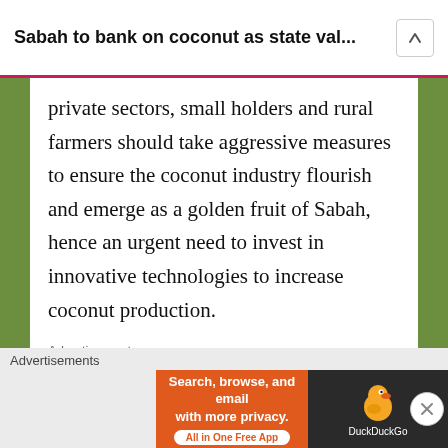Sabah to bank on coconut as state val...
private sectors, small holders and rural farmers should take aggressive measures to ensure the coconut industry flourish and emerge as a golden fruit of Sabah, hence an urgent need to invest in innovative technologies to increase coconut production.
Advertisements
[Figure (logo): Automattic logo with stylized O and letter-spaced text]
Build a better web
Advertisements
[Figure (infographic): DuckDuckGo advertisement banner: orange section with 'Search, browse, and email with more privacy. All in One Free App' and dark section with DuckDuckGo duck logo]